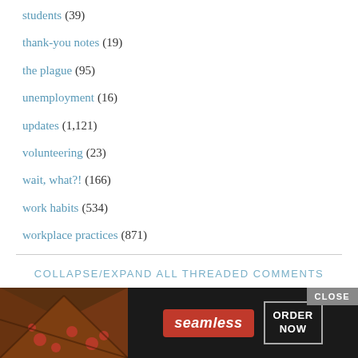students (39)
thank-you notes (19)
the plague (95)
unemployment (16)
updates (1,121)
volunteering (23)
wait, what?! (166)
work habits (534)
workplace practices (871)
COLLAPSE/EXPAND ALL THREADED COMMENTS
[Figure (other): Seamless food delivery advertisement banner with pizza image, Seamless logo in red, and ORDER NOW button]